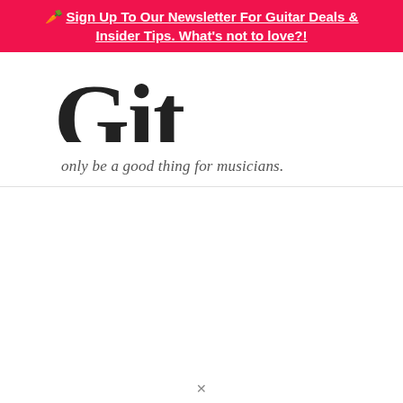🥕 Sign Up To Our Newsletter For Guitar Deals & Insider Tips. What's not to love?!
only be a good thing for musicians.